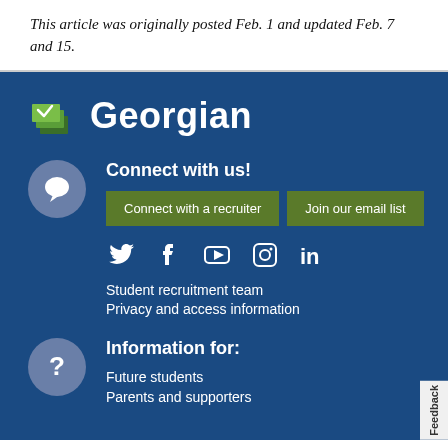This article was originally posted Feb. 1 and updated Feb. 7 and 15.
[Figure (logo): Georgian College logo with green stacked pages icon and white bold text 'Georgian' on dark blue background]
Connect with us!
Connect with a recruiter
Join our email list
[Figure (infographic): Social media icons: Twitter, Facebook, YouTube, Instagram, LinkedIn]
Student recruitment team
Privacy and access information
Information for:
Future students
Parents and supporters
Feedback